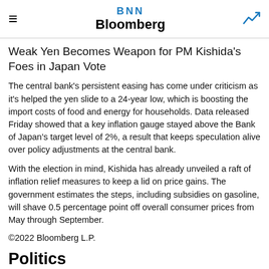BNN Bloomberg
Weak Yen Becomes Weapon for PM Kishida's Foes in Japan Vote
The central bank's persistent easing has come under criticism as it's helped the yen slide to a 24-year low, which is boosting the import costs of food and energy for households. Data released Friday showed that a key inflation gauge stayed above the Bank of Japan's target level of 2%, a result that keeps speculation alive over policy adjustments at the central bank.
With the election in mind, Kishida has already unveiled a raft of inflation relief measures to keep a lid on price gains. The government estimates the steps, including subsidies on gasoline, will shave 0.5 percentage point off overall consumer prices from May through September.
©2022 Bloomberg L.P.
Politics